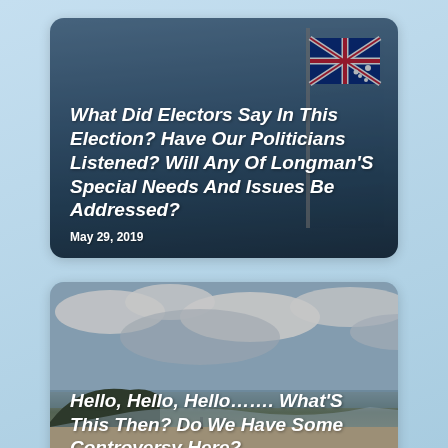[Figure (photo): Card with Australian flags against a cloudy blue-grey sky background, with overlaid article title and date]
What Did Electors Say In This Election? Have Our Politicians Listened? Will Any Of Longman'S Special Needs And Issues Be Addressed?
May 29, 2019
[Figure (photo): Card with a beach scene showing sandy shore, ocean waves, cloudy sky, and a tree-covered headland on the left, with overlaid article title]
Hello, Hello, Hello……. What'S This Then? Do We Have Some Controversy Here?